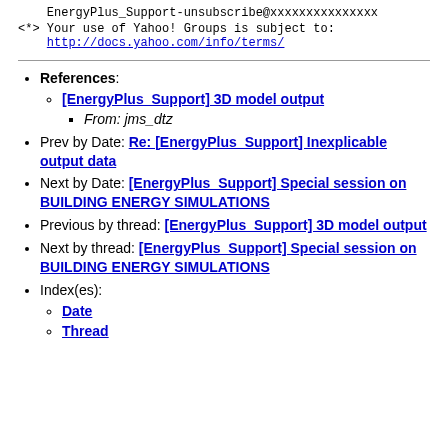EnergyPlus_Support-unsubscribe@xxxxxxxxxxxxxxx
<*> Your use of Yahoo! Groups is subject to:
    http://docs.yahoo.com/info/terms/
References: [EnergyPlus_Support] 3D model output / From: jms_dtz
Prev by Date: Re: [EnergyPlus_Support] Inexplicable output data
Next by Date: [EnergyPlus_Support] Special session on BUILDING ENERGY SIMULATIONS
Previous by thread: [EnergyPlus_Support] 3D model output
Next by thread: [EnergyPlus_Support] Special session on BUILDING ENERGY SIMULATIONS
Index(es): Date, Thread